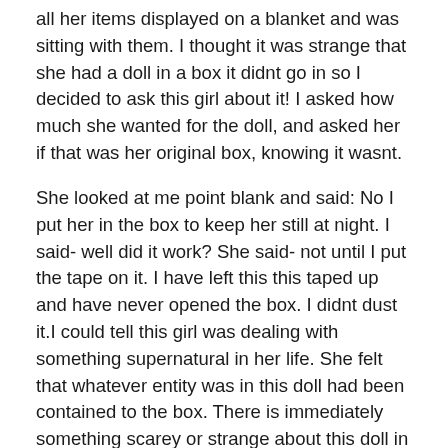all her items displayed on a blanket and was sitting with them. I thought it was strange that she had a doll in a box it didnt go in so I decided to ask this girl about it! I asked how much she wanted for the doll, and asked her if that was her original box, knowing it wasnt.
She looked at me point blank and said: No I put her in the box to keep her still at night. I said- well did it work? She said- not until I put the tape on it. I have left this this taped up and have never opened the box. I didnt dust it.I could tell this girl was dealing with something supernatural in her life. She felt that whatever entity was in this doll had been contained to the box. There is immediately something scarey or strange about this doll in the box. The box is made of tin & plastic.
Crazy doll in a box sold for $500.